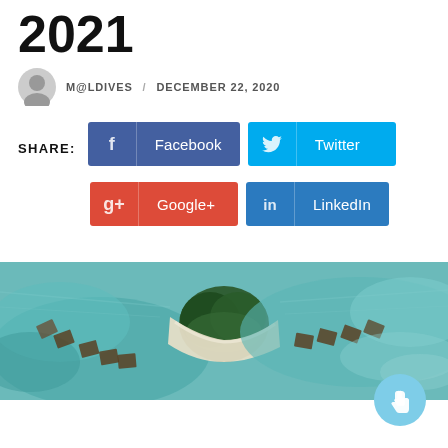2021
M@LDIVES / DECEMBER 22, 2020
SHARE: Facebook Twitter Google+ LinkedIn
[Figure (photo): Aerial view of a tropical island with turquoise water, white sandy beach, palm trees, and overwater bungalows]